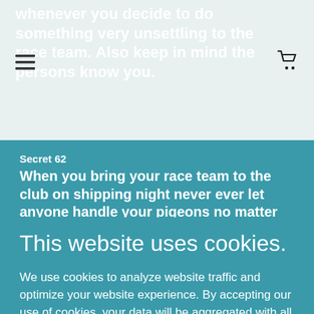whenever you decide to do something very unsettling to the race team.  Also keep in mind the persons know you.
Secret 62
When you bring your race team to the club on shipping night never ever let anyone handle your pigeons no matter how proud you are of the health and condition.  Passing pigeons around the
This website uses cookies.
We use cookies to analyze website traffic and optimize your website experience. By accepting our use of cookies, your data will be aggregated with all other user data.
NO THANKS
ACCEPT